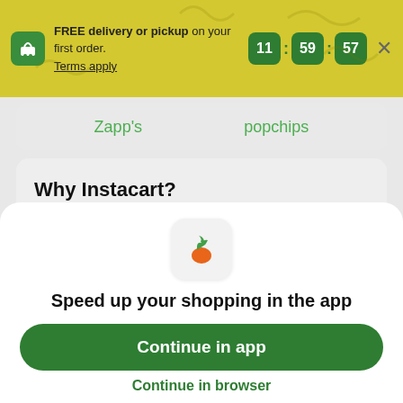FREE delivery or pickup on your first order. Terms apply  11 : 59 : 57  ×
Zapp's    popchips
Why Instacart?
Delivery in as little as 2 hours
[Figure (logo): Instacart carrot app icon]
Speed up your shopping in the app
Continue in app
Continue in browser